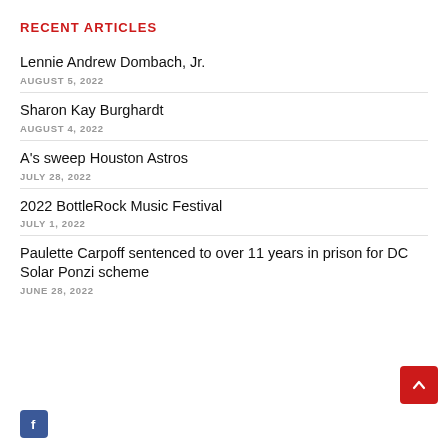RECENT ARTICLES
Lennie Andrew Dombach, Jr.
AUGUST 5, 2022
Sharon Kay Burghardt
AUGUST 4, 2022
A's sweep Houston Astros
JULY 28, 2022
2022 BottleRock Music Festival
JULY 1, 2022
Paulette Carpoff sentenced to over 11 years in prison for DC Solar Ponzi scheme
JUNE 28, 2022